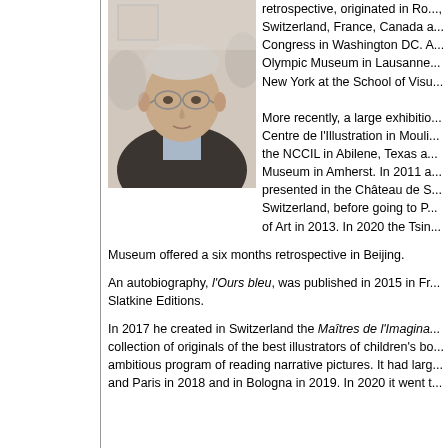[Figure (photo): Portrait photo of an elderly man with glasses, wearing a dark jacket, in a group setting]
retrospective, originated in Rome, Switzerland, France, Canada and the Library of Congress in Washington DC. Also shown at the Olympic Museum in Lausanne and New York at the School of Visu...
More recently, a large exhibition at the Centre de l'Illustration in Moulin... the NCCIL in Abilene, Texas and the Museum in Amherst. In 2011 a... presented in the Château de S... Switzerland, before going to P... of Art in 2013. In 2020 the Tsin... Museum offered a six months retrospective in Beijing.
An autobiography, l'Ours bleu, was published in 2015 in Fr... Slatkine Editions.
In 2017 he created in Switzerland the Maîtres de l'Imagina... collection of originals of the best illustrators of children's bo... ambitious program of reading narrative pictures. It had larg... and Paris in 2018 and in Bologna in 2019. In 2020 it went t...